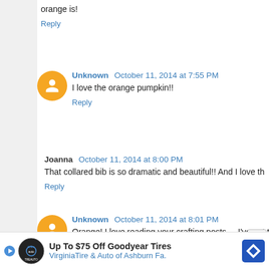orange is!
Reply
Unknown  October 11, 2014 at 7:55 PM
I love the orange pumpkin!!
Reply
Joanna  October 11, 2014 at 8:00 PM
That collared bib is so dramatic and beautiful!! And I love th
Reply
Unknown  October 11, 2014 at 8:01 PM
Orange! I love reading your crafting posts.... I've got the cr Halloween. It will go over well at my preschool!
Reply
Anonymous  October 11, 2014 at 8:01 PM
X
Up To $75 Off Goodyear Tires
VirginiaTire & Auto of Ashburn Fa.